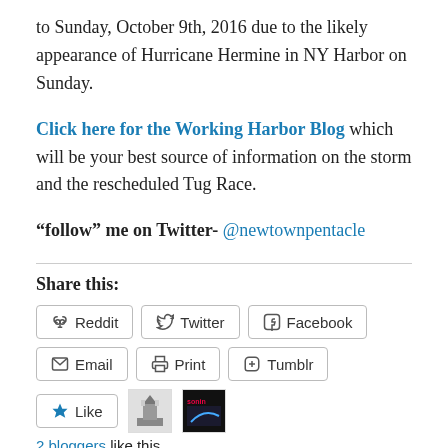to Sunday, October 9th, 2016 due to the likely appearance of Hurricane Hermine in NY Harbor on Sunday.
Click here for the Working Harbor Blog which will be your best source of information on the storm and the rescheduled Tug Race.
“follow” me on Twitter- @newtownpentacle
Share this:
Reddit
Twitter
Facebook
Email
Print
Tumblr
2 bloggers like this.